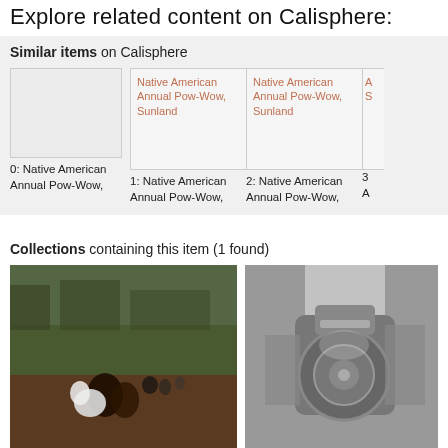Explore related content on Calisphere:
Similar items on Calisphere
[Figure (photo): Thumbnail image placeholder (empty gray box)]
[Figure (photo): Broken image placeholder showing text: Native American Annual Pow-Wow, Sunland]
[Figure (photo): Broken image placeholder showing text: Native American Annual Pow-Wow, Sunland]
[Figure (photo): Partial broken image placeholder showing text: A... S]
0: Native American Annual Pow-Wow,
1: Native American Annual Pow-Wow,
2: Native American Annual Pow-Wow,
3 A
Collections containing this item (1 found)
[Figure (photo): Color photograph of people at what appears to be a pow-wow event outdoors, showing figures on a field]
[Figure (photo): Black and white photograph showing industrial machinery or equipment]